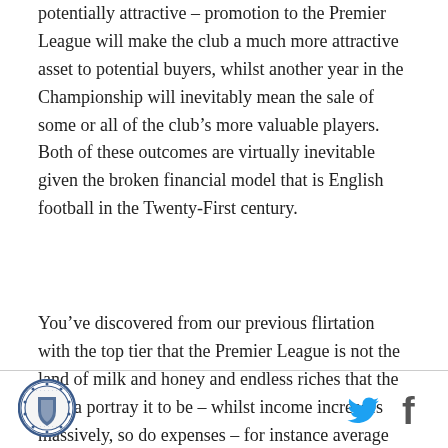potentially attractive – promotion to the Premier League will make the club a much more attractive asset to potential buyers, whilst another year in the Championship will inevitably mean the sale of some or all of the club's more valuable players. Both of these outcomes are virtually inevitable given the broken financial model that is English football in the Twenty-First century.
You've discovered from our previous flirtation with the top tier that the Premier League is not the land of milk and honey and endless riches that the media portray it to be – whilst income increases massively, so do expenses – for instance average Premier League wages are 4.54 times greater than those on the
[Figure (logo): Club crest logo in circular badge form]